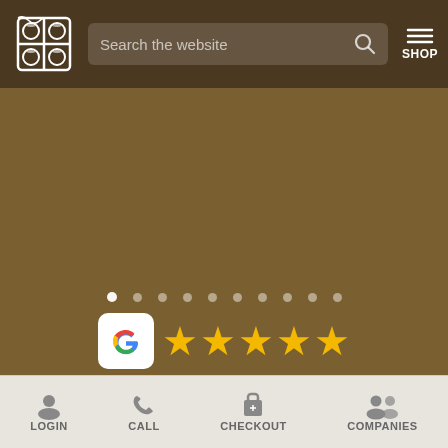[Figure (screenshot): Website navigation bar with logo, search box, and shop menu button]
[Figure (infographic): Google Reviews badge with 5-star rating and text link]
Check out our reviews on Google Reviews
INFORMATION
About Us
Our Blog
[Figure (infographic): Bottom navigation bar with LOGIN, CALL, CHECKOUT, COMPANIES icons]